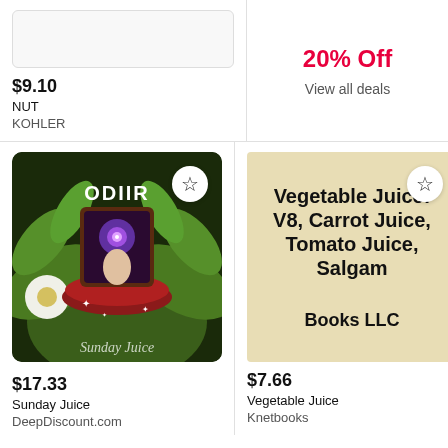$9.10
NUT
KOHLER
20% Off
View all deals
[Figure (illustration): Album art for Sunday Juice by Odd, showing psychedelic tropical foliage, a glowing eye, hand, mushroom, and white flowers on dark background with text 'Sunday Juice']
$17.33
Sunday Juice
DeepDiscount.com
[Figure (illustration): Book cover for Vegetable Juice: V8, Carrot Juice, Tomato Juice, Salgam by Books LLC, beige background with bold black text]
$7.66
Vegetable Juice
Knetbooks